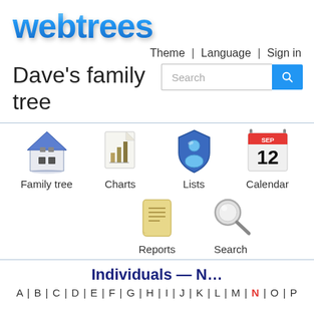[Figure (logo): webtrees logo in blue bubble/metallic text style]
Theme | Language | Sign in
Dave's family tree
[Figure (screenshot): Search input box with blue search button]
[Figure (infographic): Navigation icons: Family tree (house icon), Charts (bar chart on paper icon), Lists (blue figure/shield icon), Calendar (SEP 12 calendar icon), Reports (scroll icon), Search (magnifying glass icon)]
Individuals — N…
A | B | C | D | E | F | G | H | I | J | K | L | M | N | O | P